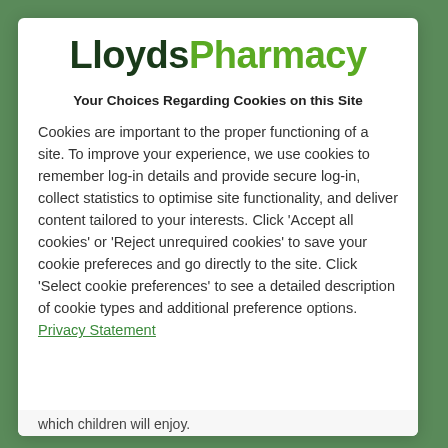[Figure (logo): LloydsPharmatcylogo with 'Lloyds' in dark green bold and 'Pharmacy' in lime green bold]
Your Choices Regarding Cookies on this Site
Cookies are important to the proper functioning of a site. To improve your experience, we use cookies to remember log-in details and provide secure log-in, collect statistics to optimise site functionality, and deliver content tailored to your interests. Click 'Accept all cookies' or 'Reject unrequired cookies' to save your cookie prefereces and go directly to the site. Click 'Select cookie preferences' to see a detailed description of cookie types and additional preference options. Privacy Statement
which children will enjoy.